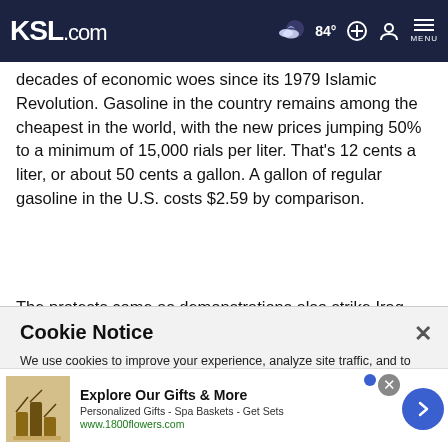KSL.com  84°  [search] [account] MENU
decades of economic woes since its 1979 Islamic Revolution. Gasoline in the country remains among the cheapest in the world, with the new prices jumping 50% to a minimum of 15,000 rials per liter. That's 12 cents a liter, or about 50 cents a gallon. A gallon of regular gasoline in the U.S. costs $2.59 by comparison.
The protests come as demonstrations also strike Iraq and Lebanon, two nations key to Iran's regional influence. Iran's
Cookie Notice
We use cookies to improve your experience, analyze site traffic, and to personalize content and ads. By continuing to use our site, you consent to our use of cookies. Please visit our Terms of Use and  Privacy Policy for more information.
Explore Our Gifts & More
Personalized Gifts - Spa Baskets - Get Sets
www.1800flowers.com